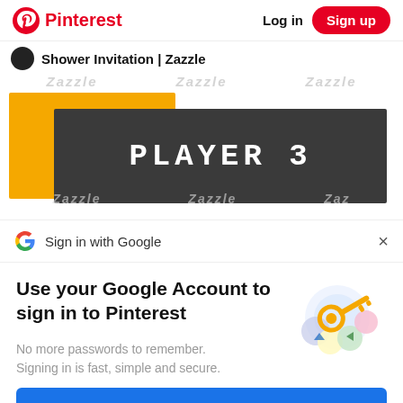Pinterest  Log in  Sign up
Shower Invitation | Zazzle
[Figure (screenshot): Zazzle product image showing a 'PLAYER 3' baby shower invitation design — yellow/gold background with dark grey overlay and white pixel-font text reading 'PLAYER 3'. Zazzle watermarks visible across the image.]
Sign in with Google
Use your Google Account to sign in to Pinterest
No more passwords to remember.
Signing in is fast, simple and secure.
[Figure (illustration): Google account illustration showing a golden key, colorful circles/shields in blue, yellow, green, and pink representing Google account security.]
Continue